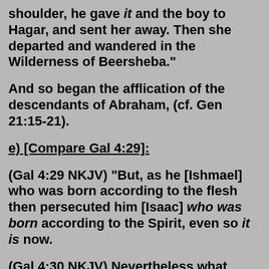shoulder, he gave it and the boy to Hagar, and sent her away. Then she departed and wandered in the Wilderness of Beersheba."
And so began the afflication of the descendants of Abraham, (cf. Gen 21:15-21).
e) [Compare Gal 4:29]:
(Gal 4:29 NKJV) "But, as he [Ishmael] who was born according to the flesh then persecuted him [Isaac] who was born according to the Spirit, even so it is now.
(Gal 4:30 NKJV) Nevertheless what does the Scripture say? 'Cast out the bondwoman and her son, for the son of